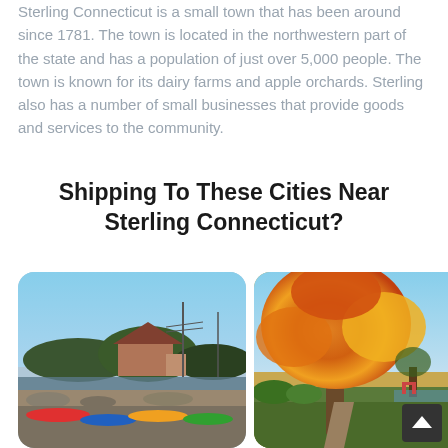Sterling Connecticut is a small town that has been around since 1781. The town is located in the northwestern part of the state and has a population of just over 5,000 people. The town is known for its dairy farms and apple orchards. Sterling also has a number of small businesses that provide goods and services to the community.
Shipping To These Cities Near Sterling Connecticut?
[Figure (photo): Photo of a coastal marina scene with colorful kayaks/boats, rocky shoreline, trees, and houses under a clear blue sky.]
[Figure (photo): Photo of an autumn park scene with a large tree with bright orange and yellow fall foliage, green grass, and blue sky.]